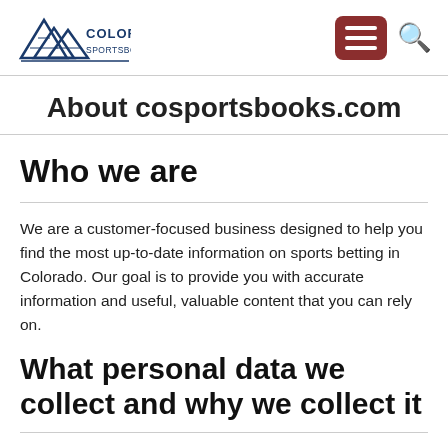Colorado Sportsbooks logo, hamburger menu, search icon
About cosportsbooks.com
Who we are
We are a customer-focused business designed to help you find the most up-to-date information on sports betting in Colorado. Our goal is to provide you with accurate information and useful, valuable content that you can rely on.
What personal data we collect and why we collect it